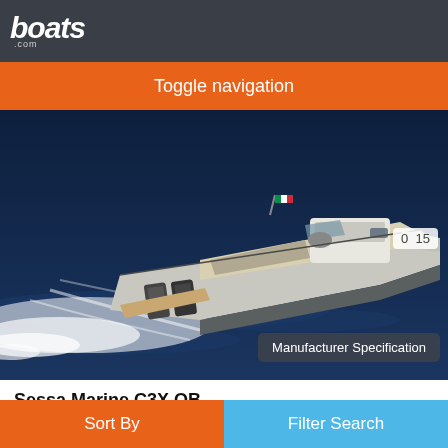boats .com
Toggle navigation
[Figure (photo): Aerial/side view of a Sessa Marine C3X OB motorboat speeding across dark blue water with white wake, flying an Italian flag, with a counter badge showing '0 15' in top right and a 'Manufacturer Specification' label overlay at lower right.]
Sessa Marine C3X OB
2022
Request Price
Sort By
Filter Search